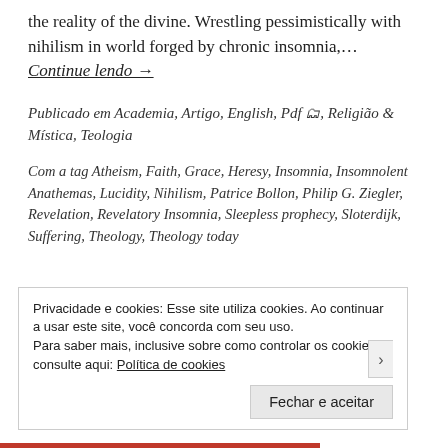the reality of the divine. Wrestling pessimistically with nihilism in world forged by chronic insomnia,... Continue lendo →
Publicado em Academia, Artigo, English, Pdf 🗂, Religião & Mística, Teologia
Com a tag Atheism, Faith, Grace, Heresy, Insomnia, Insomnolent Anathemas, Lucidity, Nihilism, Patrice Bollon, Philip G. Ziegler, Revelation, Revelatory Insomnia, Sleepless prophecy, Sloterdijk, Suffering, Theology, Theology today
Privacidade e cookies: Esse site utiliza cookies. Ao continuar a usar este site, você concorda com seu uso. Para saber mais, inclusive sobre como controlar os cookies, consulte aqui: Política de cookies
Fechar e aceitar